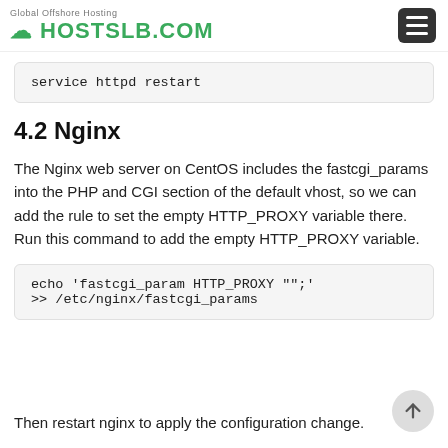HOSTSLB.COM — Global Offshore Hosting
service httpd restart
4.2 Nginx
The Nginx web server on CentOS includes the fastcgi_params into the PHP and CGI section of the default vhost, so we can add the rule to set the empty HTTP_PROXY variable there. Run this command to add the empty HTTP_PROXY variable.
echo 'fastcgi_param HTTP_PROXY "";'
>> /etc/nginx/fastcgi_params
Then restart nginx to apply the configuration change.